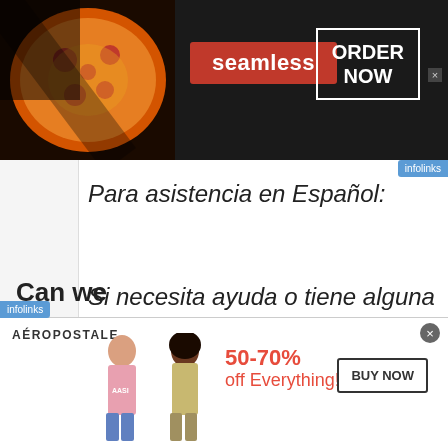[Figure (screenshot): Seamless food delivery advertisement banner with pizza image, Seamless logo on red background, and ORDER NOW button in white box on dark background]
Para asistencia en Español:
Si necesita ayuda o tiene alguna pregunta, por favor llame al Centro de Relación con Clientes al 1-866-436-7332 y
Can we
[Figure (screenshot): Aéropostale advertisement banner with two female models, 50-70% off Everything! in red text, and BUY NOW button]